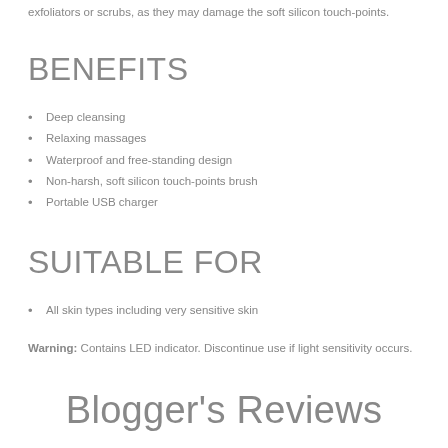exfoliators or scrubs, as they may damage the soft silicon touch-points.
BENEFITS
Deep cleansing
Relaxing massages
Waterproof and free-standing design
Non-harsh, soft silicon touch-points brush
Portable USB charger
SUITABLE FOR
All skin types including very sensitive skin
Warning: Contains LED indicator. Discontinue use if light sensitivity occurs.
Blogger's Reviews